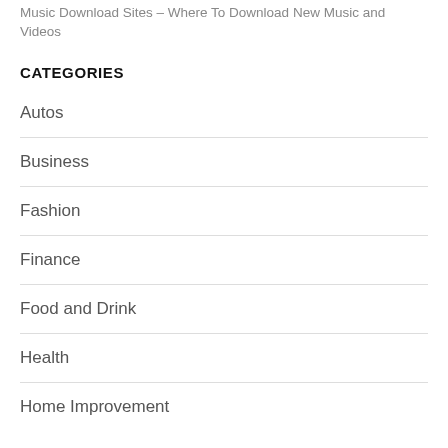Music Download Sites – Where To Download New Music and Videos
CATEGORIES
Autos
Business
Fashion
Finance
Food and Drink
Health
Home Improvement